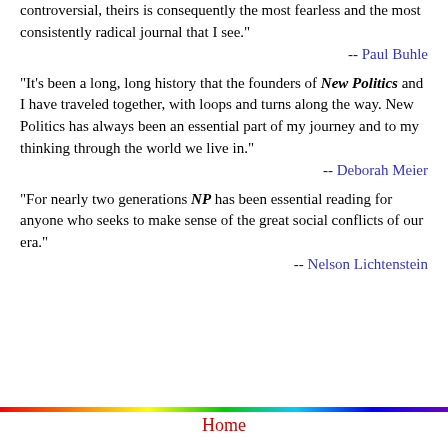controversial, theirs is consequently the most fearless and the most consistently radical journal that I see."
-- Paul Buhle
"It's been a long, long history that the founders of New Politics and I have traveled together, with loops and turns along the way. New Politics has always been an essential part of my journey and to my thinking through the world we live in."
-- Deborah Meier
"For nearly two generations NP has been essential reading for anyone who seeks to make sense of the great social conflicts of our era."
-- Nelson Lichtenstein
[Figure (other): Rainbow horizontal gradient bar]
Home